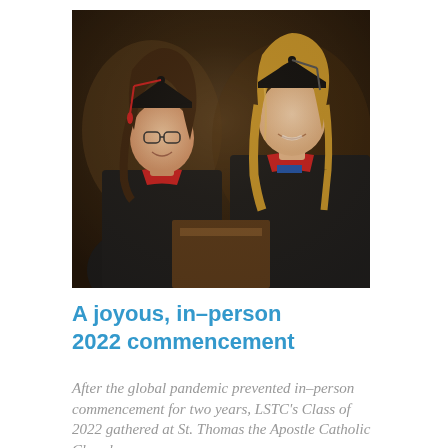[Figure (photo): Two female graduates in black commencement gowns and mortarboard caps with red tassels, smiling, standing at or near a podium. The background is dark/brown, suggesting a church or formal interior setting.]
A joyous, in-person 2022 commencement
After the global pandemic prevented in-person commencement for two years, LSTC's Class of 2022 gathered at St. Thomas the Apostle Catholic Church on May 6 for the...